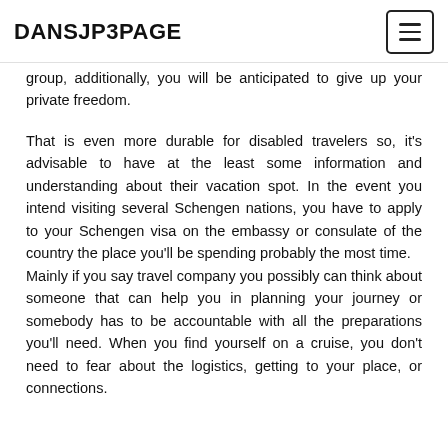DANSJP3PAGE
group, additionally, you will be anticipated to give up your private freedom.
That is even more durable for disabled travelers so, it's advisable to have at the least some information and understanding about their vacation spot. In the event you intend visiting several Schengen nations, you have to apply to your Schengen visa on the embassy or consulate of the country the place you'll be spending probably the most time.
Mainly if you say travel company you possibly can think about someone that can help you in planning your journey or somebody has to be accountable with all the preparations you'll need. When you find yourself on a cruise, you don't need to fear about the logistics, getting to your place, or connections.